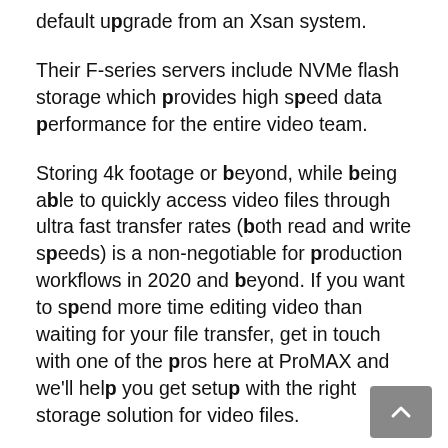default upgrade from an Xsan system.
Their F-series servers include NVMe flash storage which provides high speed data performance for the entire video team.
Storing 4k footage or beyond, while being able to quickly access video files through ultra fast transfer rates (both read and write speeds) is a non-negotiable for production workflows in 2020 and beyond. If you want to spend more time editing video than waiting for your file transfer, get in touch with one of the pros here at ProMAX and we'll help you get setup with the right storage solution for video files.